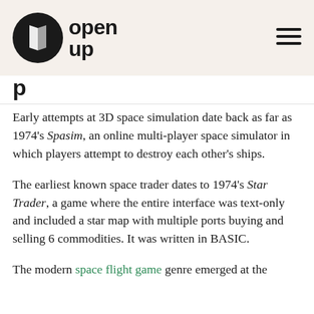open up
p
Early attempts at 3D space simulation date back as far as 1974's Spasim, an online multi-player space simulator in which players attempt to destroy each other's ships.
The earliest known space trader dates to 1974's Star Trader, a game where the entire interface was text-only and included a star map with multiple ports buying and selling 6 commodities. It was written in BASIC.
The modern space flight game genre emerged at the